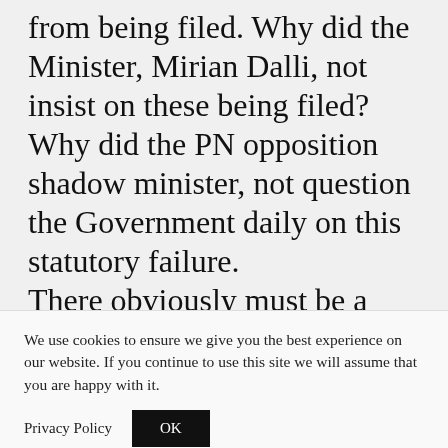from being filed. Why did the Minister, Mirian Dalli, not insist on these being filed? Why did the PN opposition shadow minister, not question the Government daily on this statutory failure. There obviously must be a reason, which the public has the right to know, and the longer it takes, the higher the
We use cookies to ensure we give you the best experience on our website. If you continue to use this site we will assume that you are happy with it.
Privacy Policy  OK